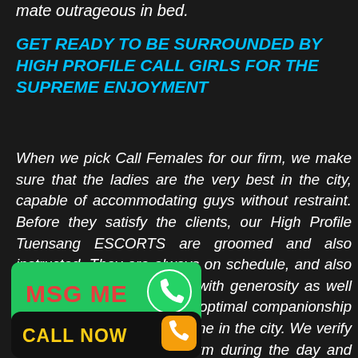mate outrageous in bed.
GET READY TO BE SURROUNDED BY HIGH PROFILE CALL GIRLS FOR THE SUPREME ENJOYMENT
When we pick Call Females for our firm, we make sure that the ladies are the very best in the city, capable of accommodating guys without restraint. Before they satisfy the clients, our High Profile Tuensang ESCORTS are groomed and also instructed. They are always on schedule, and also they constantly invite men with generosity as well as charm. They supply the optimal companionship for those males that are alone in the city. We verify to be the best ESCORT firm during the day and also during the night.
[Figure (other): Green MSG ME button with WhatsApp icon]
[Figure (other): Black CALL NOW button with phone icon]